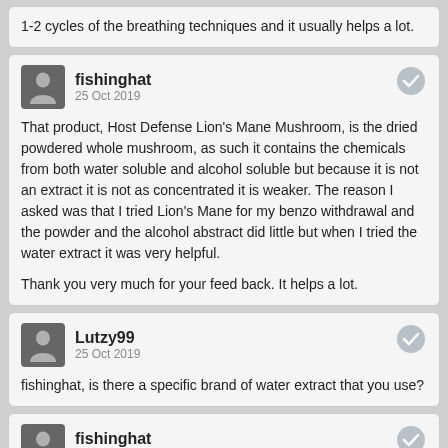1-2 cycles of the breathing techniques and it usually helps a lot.
fishinghat
25 Oct 2019
That product, Host Defense Lion's Mane Mushroom, is the dried powdered whole mushroom, as such it contains the chemicals from both water soluble and alcohol soluble but because it is not an extract it is not as concentrated it is weaker. The reason I asked was that I tried Lion's Mane for my benzo withdrawal and the powder and the alcohol abstract did little but when I tried the water extract it was very helpful.

Thank you very much for your feed back. It helps a lot.
Lutzy99
25 Oct 2019
fishinghat, is there a specific brand of water extract that you use?
fishinghat
25 Oct 2019
I used ...